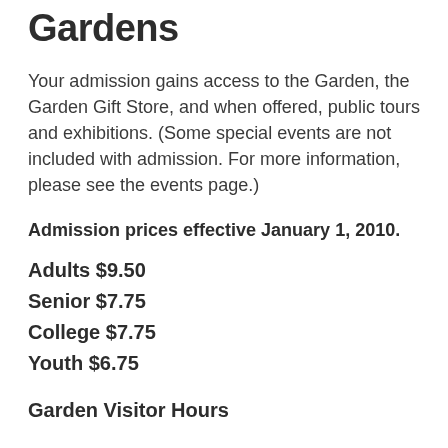Gardens
Your admission gains access to the Garden, the Garden Gift Store, and when offered, public tours and exhibitions. (Some special events are not included with admission. For more information, please see the events page.)
Admission prices effective January 1, 2010.
Adults $9.50
Senior $7.75
College $7.75
Youth $6.75
Garden Visitor Hours